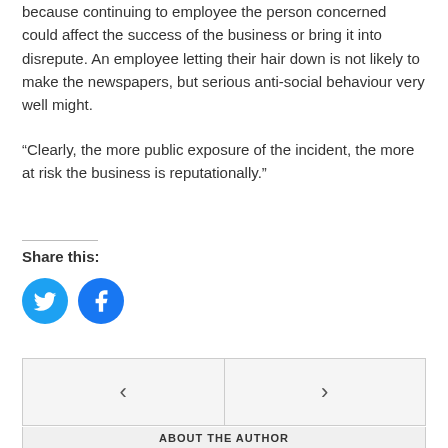because continuing to employee the person concerned could affect the success of the business or bring it into disrepute. An employee letting their hair down is not likely to make the newspapers, but serious anti-social behaviour very well might.
“Clearly, the more public exposure of the incident, the more at risk the business is reputationally.”
Share this:
[Figure (other): Twitter and Facebook social share icon buttons (blue circles with icons)]
< >
ABOUT THE AUTHOR